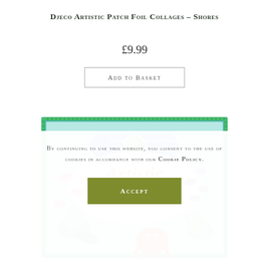Djeco Artistic Patch Foil Collages – Shores
£9.99
Add to Basket
[Figure (photo): Product box for Djeco Artistic Patch Foil Collages – Shores, showing a teal-bordered box with mermaid and sea creatures illustration, text reading 'Artistic Patch' in orange script, with 'paillettes glitter' and 'pailletten purpurinas' labels]
By continuing to use this website, you consent to the use of cookies in accordance with our Cookie Policy.
Accept